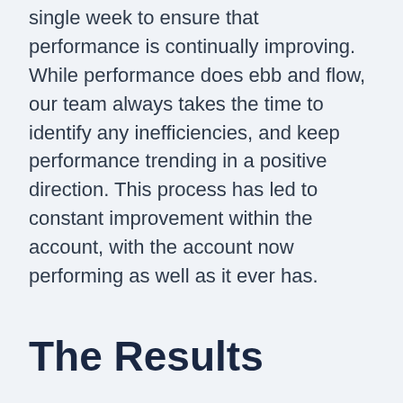single week to ensure that performance is continually improving. While performance does ebb and flow, our team always takes the time to identify any inefficiencies, and keep performance trending in a positive direction. This process has led to constant improvement within the account, with the account now performing as well as it ever has.
The Results
The process of removing duplicate conversions, making keywords more relevant, and measuring